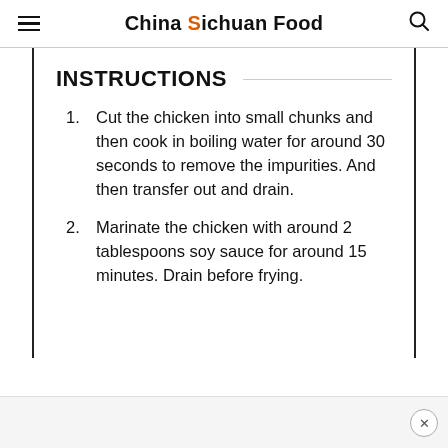China Sichuan Food
INSTRUCTIONS
Cut the chicken into small chunks and then cook in boiling water for around 30 seconds to remove the impurities. And then transfer out and drain.
Marinate the chicken with around 2 tablespoons soy sauce for around 15 minutes. Drain before frying.